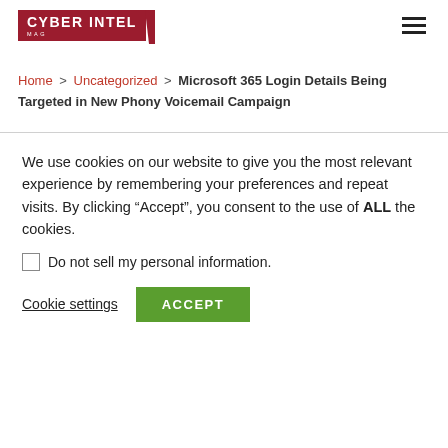[Figure (logo): CyberIntel Mag logo — dark red rectangle with white bold text CYBER INTEL and small text MAG below, with a diagonal slash on the right edge]
Home > Uncategorized > Microsoft 365 Login Details Being Targeted in New Phony Voicemail Campaign
We use cookies on our website to give you the most relevant experience by remembering your preferences and repeat visits. By clicking “Accept”, you consent to the use of ALL the cookies.
Do not sell my personal information.
Cookie settings   ACCEPT